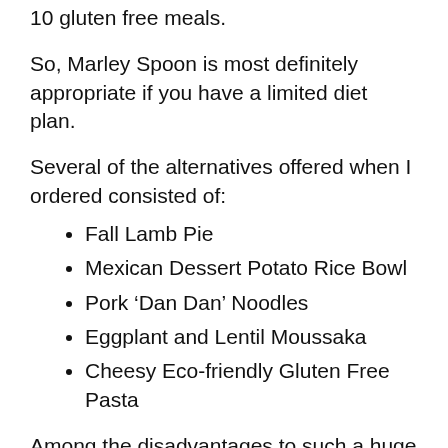10 gluten free meals.
So, Marley Spoon is most definitely appropriate if you have a limited diet plan.
Several of the alternatives offered when I ordered consisted of:
Fall Lamb Pie
Mexican Dessert Potato Rice Bowl
Pork ‘Dan Dan’ Noodles
Eggplant and Lentil Moussaka
Cheesy Eco-friendly Gluten Free Pasta
Among the disadvantages to such a huge food selection is that meals can in some cases be extremely basic. It deserves choosing your meals very carefully to